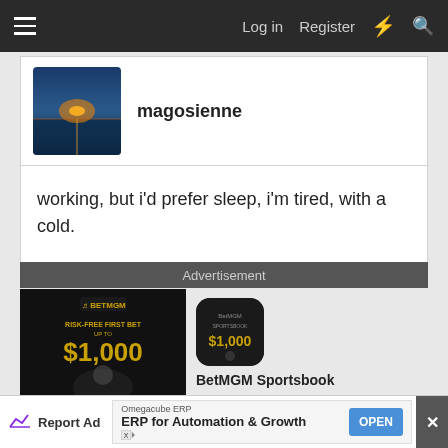Log in  Register
magosienne
working, but i'd prefer sleep, i'm tired, with a cold.
Advertisement
[Figure (photo): BetMGM Risk-Free First Bet $1,000 advertisement banner with person and BetMGM logo, alongside app icon showing $1,000 and BetMGM Sportsbook label]
Report Ad   Omegacube ERP  ERP for Automation & Growth  OPEN